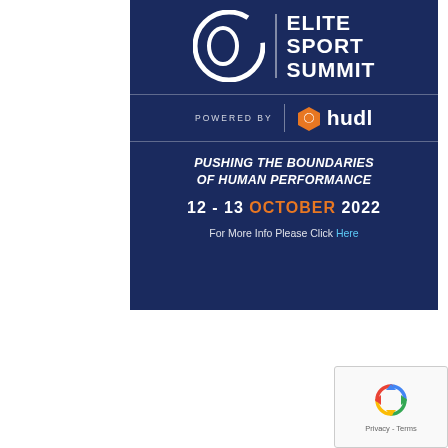[Figure (logo): Elite Sport Summit banner powered by Hudl. Dark navy background with white circular logo on left, 'ELITE SPORT SUMMIT' title on right, 'POWERED BY | hudl' in middle, tagline 'PUSHING THE BOUNDARIES OF HUMAN PERFORMANCE', date '12-13 OCTOBER 2022', and link 'For More Info Please Click Here'.]
[Figure (logo): reCAPTCHA widget with recycling arrows icon and 'Privacy - Terms' text]